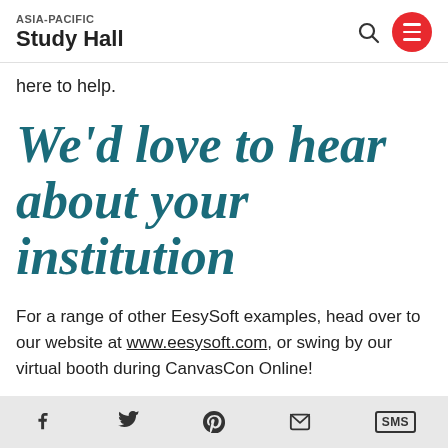ASIA-PACIFIC Study Hall
here to help.
We'd love to hear about your institution
For a range of other EesySoft examples, head over to our website at www.eesysoft.com, or swing by our virtual booth during CanvasCon Online!
Share icons: Facebook, Twitter, Pinterest, Email, SMS